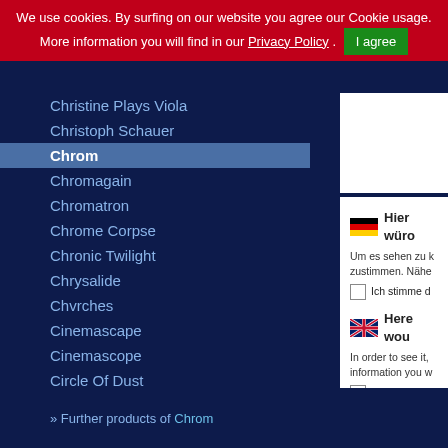We use cookies. By surfing on our website you agree our Cookie usage. More information you will find in our Privacy Policy . I agree
Christine Plays Viola
Christoph Schauer
Chrom
Chromagain
Chromatron
Chrome Corpse
Chronic Twilight
Chrysalide
Chvrches
Cinemascape
Cinemascope
Circle Of Dust
Circuito Cerrado
Circumpolar
Claire Voyant
Clan of Xymox
Class Actress
Claus Fovea
Click Click
Clicks
Client
Clock DVA
Clockwork Orange
Hier würd... Um es sehen zu k... zustimmen. Nähe... Ich stimme d...
Here wou... In order to see it, information you w... I agree to the...
» Further products of Chrom